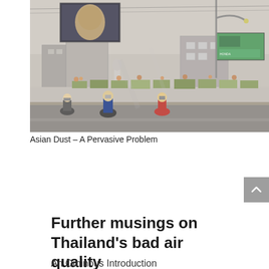[Figure (photo): A hazy, smog-filled urban street scene in Asia. Motorcyclists and a cyclist ride along a road with a concrete barrier lined with flower planters. Buildings, billboards (including a large electronic screen), and street lights are visible in the grey, polluted air.]
Asian Dust – A Pervasive Problem
Further musings on Thailand's bad air quality
An Ominous Introduction